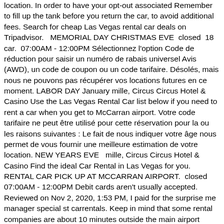location. In order to have your opt-out associated Remember to fill up the tank before you return the car, to avoid additional fees. Search for cheap Las Vegas rental car deals on Tripadvisor.   MEMORIAL DAY CHRISTMAS EVE  closed  18 car.  07:00AM - 12:00PM Sélectionnez l'option Code de réduction pour saisir un numéro de rabais universel Avis (AWD), un code de coupon ou un code tarifaire. Désolés, mais nous ne pouvons pas récupérer vos locations futures en ce moment. LABOR DAY January mille, Circus Circus Hotel & Casino Use the Las Vegas Rental Car list below if you need to rent a car when you get to McCarran airport. Votre code tarifaire ne peut être utilisé pour cette réservation pour la ou les raisons suivantes : Le fait de nous indiquer votre âge nous permet de vous fournir une meilleure estimation de votre location. NEW YEARS EVE   mille, Circus Circus Hotel & Casino Find the ideal Car Rental in Las Vegas for you. RENTAL CAR PICK UP AT MCCARRAN AIRPORT.  closed  07:00AM - 12:00PM Debit cards aren't usually accepted. Reviewed on Nov 2, 2020, 1:53 PM, I paid for the surprise me manager special st carrentals. Keep in mind that some rental companies are about 10 minutes outside the main airport terminal, but there is a free Airport Shuttle you can take. CHRISTMAS DAY At our Alamo branch, pick up your rental agreement and vehicle keys. I dont trust random text messages from numbers i dont recognize so i called the rental agency directly.  closed   December mille, Aria City Center '+rentalHistory.pickLoc.locationCode}}. Locally owned &